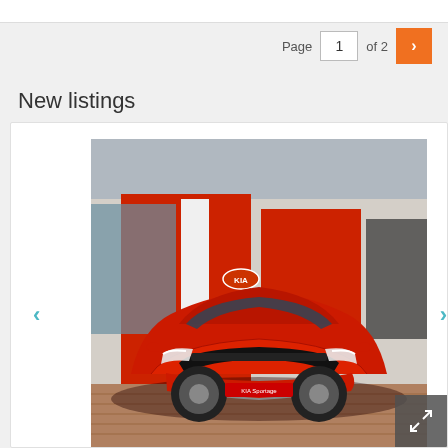Page 1 of 2
New listings
[Figure (photo): Red Kia SUV parked in front of a Kia dealership with a red facade. The car is facing forward and is photographed from a slightly elevated front-left angle on a brick driveway.]